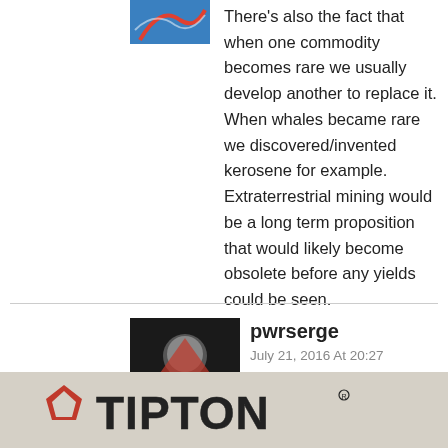[Figure (photo): Small avatar/profile image with blue background at top left area]
There's also the fact that when one commodity becomes rare we usually develop another to replace it. When whales became rare we discovered/invented kerosene for example. Extraterrestrial mining would be a long term proposition that would likely become obsolete before any yields could be seen.
[Figure (photo): Profile avatar of pwrserge, dark background with illustrated character]
pwrserge
July 21, 2016 At 20:27
The big draw of orbital mining is to provide raw resources for orbital construction. After all, it's a lot easier to bring an asteroid DOWN into a gravity well and smelt it for raw structural materials than it is to bring the same volume of [text continues...] hen there's [text continues...] can only be
[Figure (logo): TIPTON logo with red pentagon icon on beige/gray background]